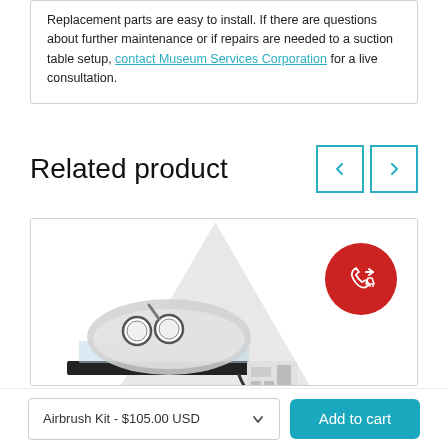Replacement parts are easy to install. If there are questions about further maintenance or if repairs are needed to a suction table setup, contact Museum Services Corporation for a live consultation.
Related product
[Figure (photo): Product photo of a suction table setup with a domed top, gauges, and a control unit, displayed against a white background with a light grey upward-pointing arrow graphic. A red circular badge with a phone and shopping cart icon appears in the top-right corner.]
Airbrush Kit - $105.00 USD
Add to cart